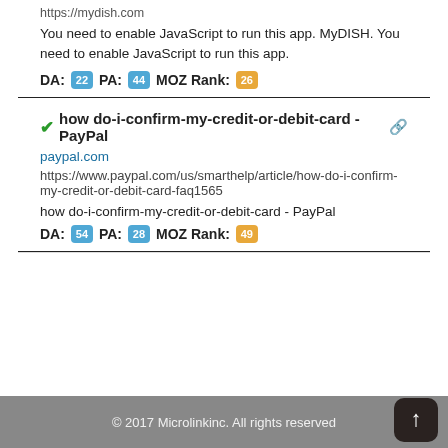https://mydish.com
You need to enable JavaScript to run this app. MyDISH. You need to enable JavaScript to run this app.
DA: 22  PA: 44  MOZ Rank: 26
how do-i-confirm-my-credit-or-debit-card - PayPal
paypal.com
https://www.paypal.com/us/smarthelp/article/how-do-i-confirm-my-credit-or-debit-card-faq1565
how do-i-confirm-my-credit-or-debit-card - PayPal
DA: 54  PA: 28  MOZ Rank: 49
© 2017 Microlinkinc. All rights reserved